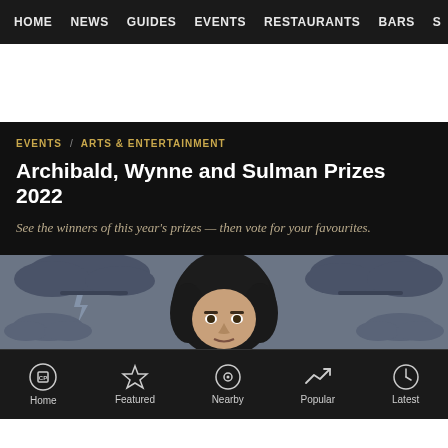HOME  NEWS  GUIDES  EVENTS  RESTAURANTS  BARS  S
[Figure (illustration): Dark blue-grey illustrated artwork showing stylized clouds and a painted portrait of a person with dark hair and an intense expression in the center, against a moody grey-blue sky background.]
EVENTS   ARTS & ENTERTAINMENT
Archibald, Wynne and Sulman Prizes 2022
See the winners of this year's prizes — then vote for your favourites.
Home   Featured   Nearby   Popular   Latest